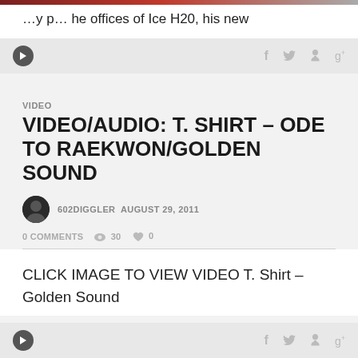…y p… he offices of Ice H20, his new
VIDEO
VIDEO/AUDIO: T. SHIRT – ODE TO RAEKWON/GOLDEN SOUND
602DIGGLER AUGUST 29, 2011
0 COMMENTS  👁 30  ♥ 0
CLICK IMAGE TO VIEW VIDEO T. Shirt – Golden Sound